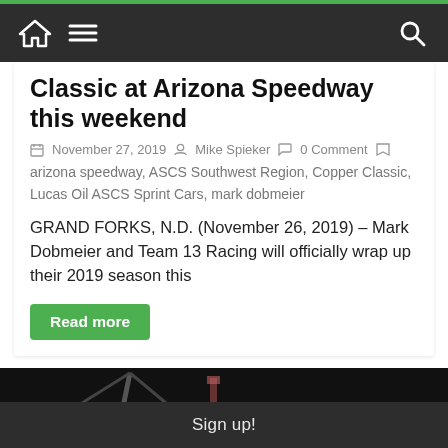Navigation bar with home, menu, and search icons
Classic at Arizona Speedway this weekend
November 27, 2019  Mike Spieker  0 Comment
arizona speedway, ASCS Southwest Region, Copper Classic, Lucas Oil ASCS Sprint Cars, mark dobmeier
GRAND FORKS, N.D. (November 26, 2019) – Mark Dobmeier and Team 13 Racing will officially wrap up their 2019 season this
Read more
[Figure (photo): Dark nighttime racing scene with track equipment visible]
Sign up!